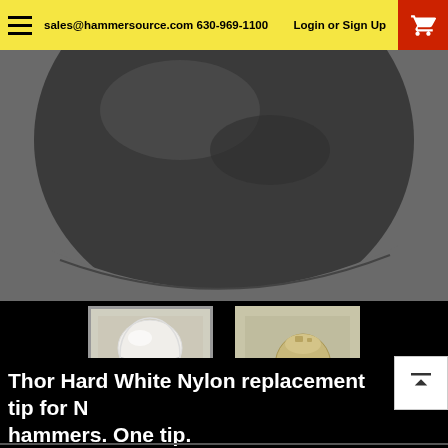sales@hammersource.com 630-969-1100   Login or Sign Up
[Figure (photo): Close-up of a grey/dark rubber or nylon hammer tip face viewed from below, on a grey background]
[Figure (photo): Thumbnail of white nylon hammer replacement tip (selected)]
[Figure (photo): Thumbnail of beige/tan nylon hammer replacement tip]
Thor Hard White Nylon replacement tip for N hammers. One tip.